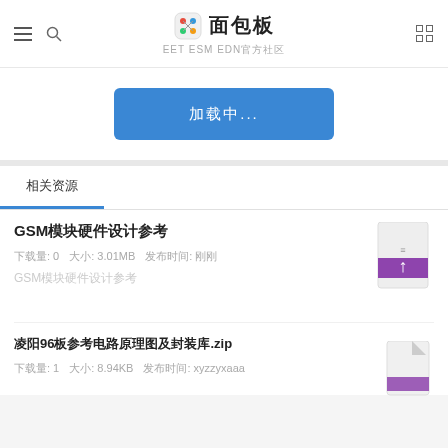面包板 EET ESM EDN官方社区
加载中...
相关资源
GSM模块硬件设计参考
下载量: 0   大小: 3.01MB   发布时间: 刚刚
GSM模块硬件设计参考
凌阳96板参考电路原理图及封装库.zip
下载量: 1   大小: 8.94KB   发布时间: xyzzyxaaa